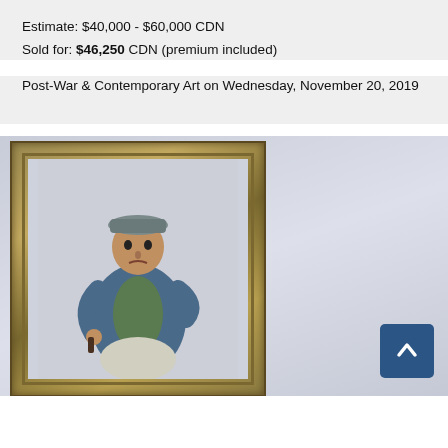Estimate: $40,000 - $60,000 CDN
Sold for: $46,250 CDN (premium included)
Post-War & Contemporary Art on Wednesday, November 20, 2019
[Figure (photo): A three-dimensional sculptural artwork depicting a man in a flat cap and blue jacket with green shirt, standing in front of a gold ornate picture frame. The sculpture appears to be displayed within or emerging from the frame against a grey background.]